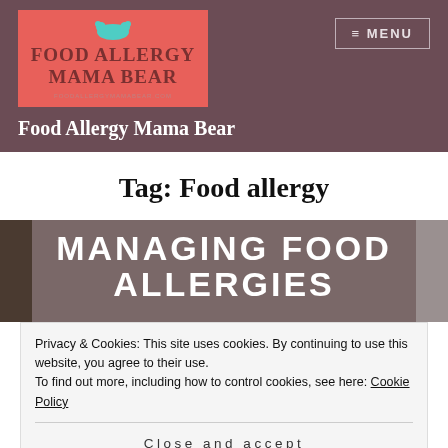[Figure (logo): Food Allergy Mama Bear logo with bear icon on salmon/red background]
Food Allergy Mama Bear
Tag: Food allergy
[Figure (illustration): Banner image showing 'MANAGING FOOD ALLERGIES' text in white bold uppercase over a brownish background with food items on sides]
Privacy & Cookies: This site uses cookies. By continuing to use this website, you agree to their use.
To find out more, including how to control cookies, see here: Cookie Policy
Close and accept